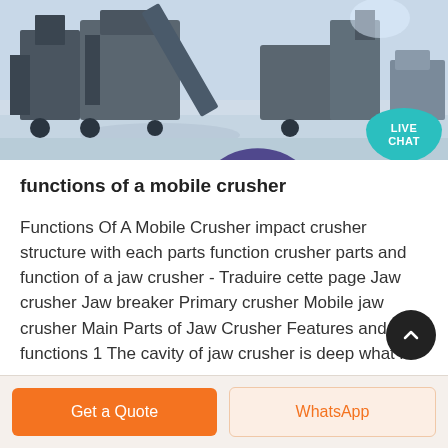[Figure (photo): Outdoor photo of a mobile crusher/industrial machinery at a worksite, with snow or frost on the ground, vehicles and equipment visible in the background.]
functions of a mobile crusher
Functions Of A Mobile Crusher impact crusher structure with each parts function crusher parts and function of a jaw crusher - Traduire cette page Jaw crusher Jaw breaker Primary crusher Mobile jaw crusher Main Parts of Jaw Crusher Features and functions 1 The cavity of jaw crusher is deep what is function